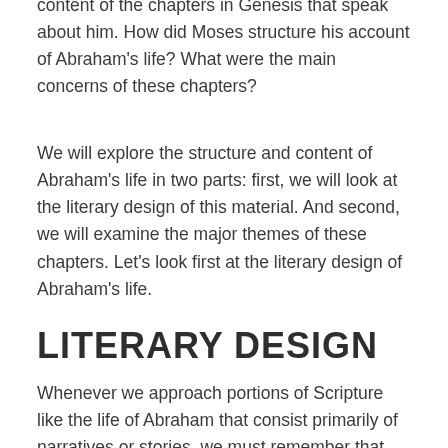content of the chapters in Genesis that speak about him. How did Moses structure his account of Abraham's life? What were the main concerns of these chapters?
We will explore the structure and content of Abraham's life in two parts: first, we will look at the literary design of this material. And second, we will examine the major themes of these chapters. Let's look first at the literary design of Abraham's life.
LITERARY DESIGN
Whenever we approach portions of Scripture like the life of Abraham that consist primarily of narratives or stories, we must remember that biblical writers did